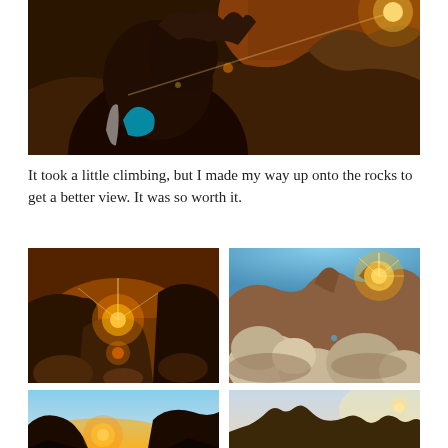[Figure (photo): Close-up photo of a person with dreadlocks wearing a dark jacket, with bright sun flare and rocky desert landscape in the background at golden hour.]
It took a little climbing, but I made my way up onto the rocks to get a better view. It was so worth it.
[Figure (photo): Low-angle photo of rocky boulders with bright sun setting between rocks, golden warm light and lens flare.]
[Figure (photo): Photo of large rounded boulders with bright sun just appearing between rocky peaks, creating starbursts of light, blue sky.]
[Figure (photo): Wide-angle photo of rocky desert landscape with sun setting near the horizon, warm golden and blue sky gradient.]
[Figure (photo): Photo of jagged rocky peaks silhouetted against a pale hazy sky at dusk.]